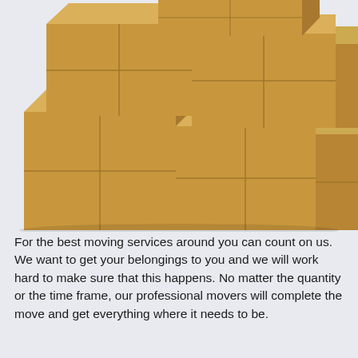[Figure (illustration): A stacked arrangement of cardboard moving boxes arranged in a staircase pattern against a light grey-blue background. Multiple boxes of similar size are stacked in tiers, forming a roughly pyramidal/staircase shape from lower-left to upper-right.]
For the best moving services around you can count on us. We want to get your belongings to you and we will work hard to make sure that this happens. No matter the quantity or the time frame, our professional movers will complete the move and get everything where it needs to be.